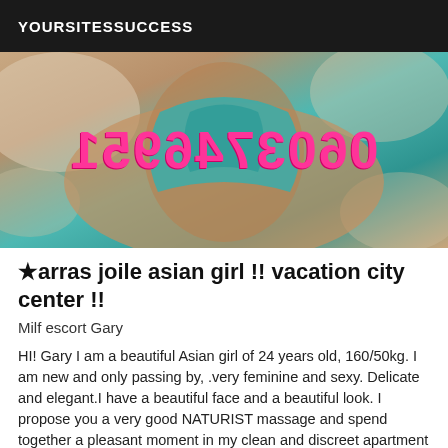YOURSITESSUCCESS
[Figure (photo): Photo of a person in a teal/turquoise knit swimsuit with pink mirrored phone number text overlay: 0603746951]
★arras joile asian girl !! vacation city center !!
Milf escort Gary
HI! Gary I am a beautiful Asian girl of 24 years old, 160/50kg. I am new and only passing by, .very feminine and sexy. Delicate and elegant.I have a beautiful face and a beautiful look. I propose you a very good NATURIST massage and spend together a pleasant moment in my clean and discreet apartment in the city